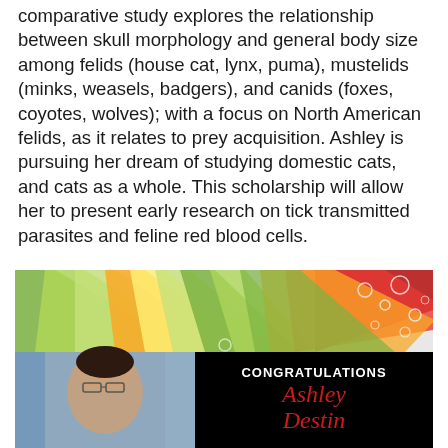comparative study explores the relationship between skull morphology and general body size among felids (house cat, lynx, puma), mustelids (minks, weasels, badgers), and canids (foxes, coyotes, wolves); with a focus on North American felids, as it relates to prey acquisition. Ashley is pursuing her dream of studying domestic cats, and cats as a whole. This scholarship will allow her to present early research on tick transmitted parasites and feline red blood cells.
[Figure (photo): Congratulations banner image with colorful ribbon rays at top, photo of Ashley Destin on the left (woman with glasses and dark hair), and black panel on the right with 'CONGRATULATIONS' in white bold text and 'Ashley Destin' in red italic script.]